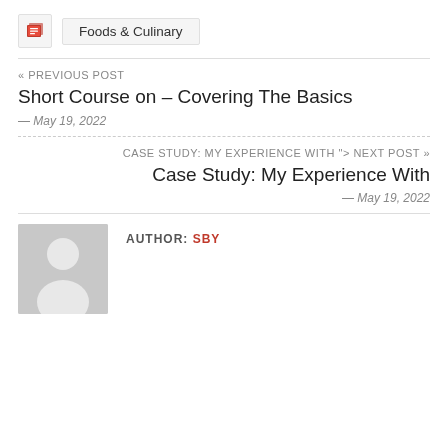Foods & Culinary
« PREVIOUS POST
Short Course on – Covering The Basics
— May 19, 2022
CASE STUDY: MY EXPERIENCE WITH "> NEXT POST »
Case Study: My Experience With
— May 19, 2022
AUTHOR: SBY
[Figure (illustration): Generic gray user avatar placeholder image showing a silhouette of a person]